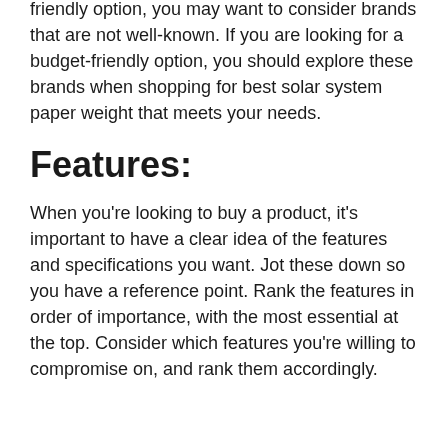friendly option, you may want to consider brands that are not well-known. If you are looking for a budget-friendly option, you should explore these brands when shopping for best solar system paper weight that meets your needs.
Features:
When you're looking to buy a product, it's important to have a clear idea of the features and specifications you want. Jot these down so you have a reference point. Rank the features in order of importance, with the most essential at the top. Consider which features you're willing to compromise on, and rank them accordingly.